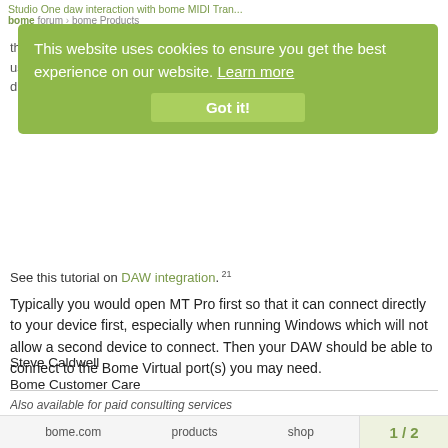Studio One daw interaction with bome MIDI Tran...
bome forum › bome Products
[Figure (screenshot): Cookie consent banner overlay with green background. Text: 'This website uses cookies to ensure you get the best experience on our website. Learn more' with a 'Got it!' button.]
that don't, then you will need to go through Bome MIDI Translator Pro and use virtual ports with your Studio One application, breaking the existing direct connection.
See this tutorial on DAW integration. [21]
Typically you would open MT Pro first so that it can connect directly to your device first, especially when running Windows which will not allow a second device to connect. Then your DAW should be able to connect to the Bome Virtual port(s) you may need.
Steve Caldwell
Bome Customer Care
Also available for paid consulting services
bome.com   products   shop   1 / 2